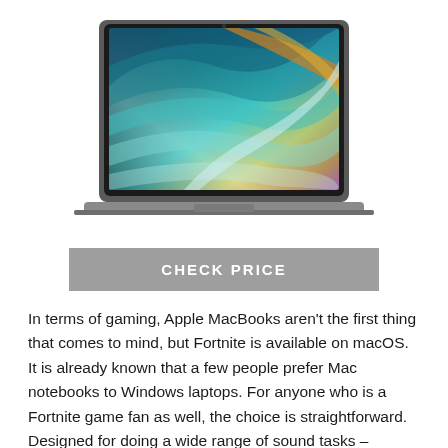[Figure (photo): Apple MacBook Pro 16-inch laptop with colorful swirling display background, shown from front, closed lid angle view, space gray color]
CHECK PRICE
In terms of gaming, Apple MacBooks aren't the first thing that comes to mind, but Fortnite is available on macOS. It is already known that a few people prefer Mac notebooks to Windows laptops. For anyone who is a Fortnite game fan as well, the choice is straightforward. Designed for doing a wide range of sound tasks – including playing Fortnite – the 16-inch Apple MacBook Pro 16 is a 2560 x 1600p powerhouse laptop. Radeon Pro 555X graphics are available on the latest MacBook Pros, nearly identical to the GeForce GT 1020. Apple assembles its machines to